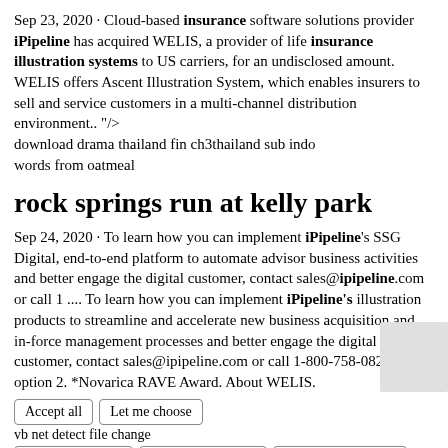Sep 23, 2020 · Cloud-based insurance software solutions provider iPipeline has acquired WELIS, a provider of life insurance illustration systems to US carriers, for an undisclosed amount. WELIS offers Ascent Illustration System, which enables insurers to sell and service customers in a multi-channel distribution environment.. "/> download drama thailand fin ch3thailand sub indo words from oatmeal
rock springs run at kelly park
Sep 24, 2020 · To learn how you can implement iPipeline's SSG Digital, end-to-end platform to automate advisor business activities and better engage the digital customer, contact sales@ipipeline.com or call 1 .... To learn how you can implement iPipeline's illustration products to streamline and accelerate new business acquisition and in-force management processes and better engage the digital customer, contact sales@ipipeline.com or call 1-800-758-0824, option 2. *Novarica RAVE Award. About WELIS.
Accept all
Let me choose
vb net detect file change
Essential cookies
Functional cookies
Advertising cookies
Analytical cookies